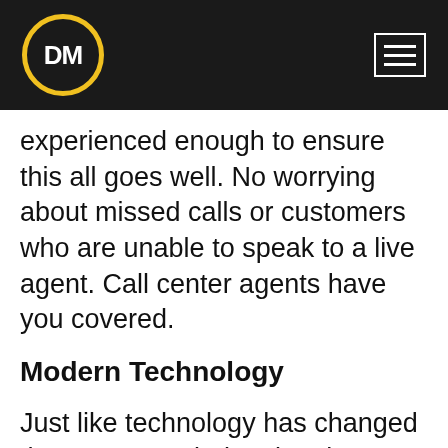DM
experienced enough to ensure this all goes well. No worrying about missed calls or customers who are unable to speak to a live agent. Call center agents have you covered.
Modern Technology
Just like technology has changed the way many industries do business, it has impacted the call center industry as well. If you are not up to date with the latest technology, then that's a strike against your